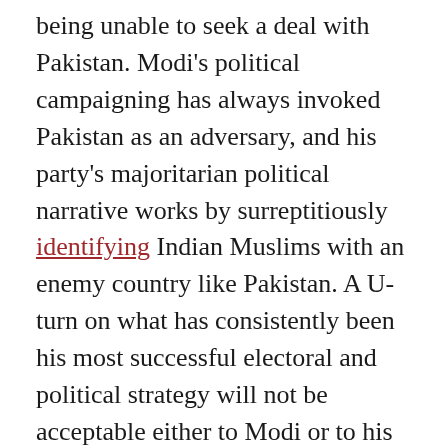being unable to seek a deal with Pakistan. Modi's political campaigning has always invoked Pakistan as an adversary, and his party's majoritarian political narrative works by surreptitiously identifying Indian Muslims with an enemy country like Pakistan. A U-turn on what has consistently been his most successful electoral and political strategy will not be acceptable either to Modi or to his party, his political supporters, and his ideological mentors.
Conclusion